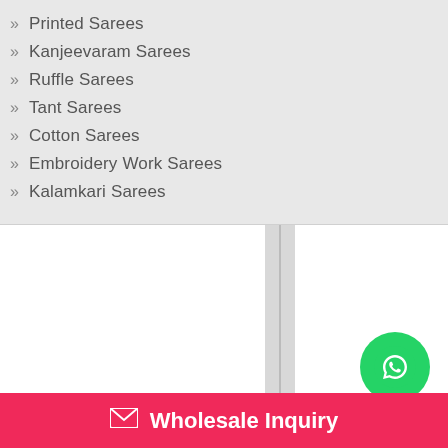Printed Sarees
Kanjeevaram Sarees
Ruffle Sarees
Tant Sarees
Cotton Sarees
Embroidery Work Sarees
Kalamkari Sarees
[Figure (logo): WhatsApp logo button - green circle with white phone/chat icon]
Wholesale Inquiry